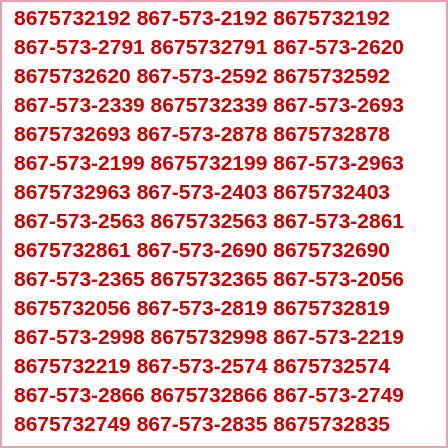8675732192 867-573-2192 8675732192 867-573-2791 8675732791 867-573-2620 8675732620 867-573-2592 8675732592 867-573-2339 8675732339 867-573-2693 8675732693 867-573-2878 8675732878 867-573-2199 8675732199 867-573-2963 8675732963 867-573-2403 8675732403 867-573-2563 8675732563 867-573-2861 8675732861 867-573-2690 8675732690 867-573-2365 8675732365 867-573-2056 8675732056 867-573-2819 8675732819 867-573-2998 8675732998 867-573-2219 8675732219 867-573-2574 8675732574 867-573-2866 8675732866 867-573-2749 8675732749 867-573-2835 8675732835 867-573-2464 8675732464 867-573-2536 8675732536 867-573-2443 8675732443 867-573-2439 8675732439 867-573-2270 8675732270 867-573-2238 8675732238 867-573-2760 8675732760 867-573-2577 8675732577 867-573-2327 8675732327 867-573-2230 8675732230 867-573-2553 8675732553 867-